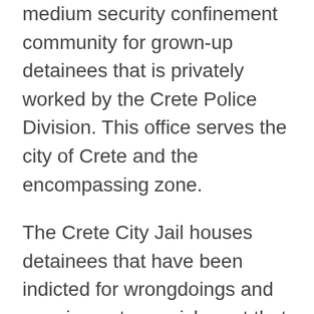medium security confinement community for grown-up detainees that is privately worked by the Crete Police Division. This office serves the city of Crete and the encompassing zone.
The Crete City Jail houses detainees that have been indicted for wrongdoings and carrying out a punishment that is a year or less just as the individuals who are yet anticipating preliminary. Detainees